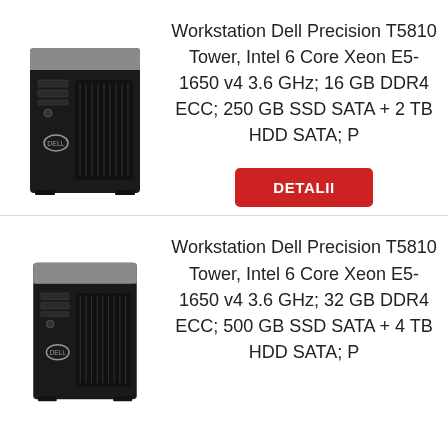[Figure (photo): Dell Precision T5810 Tower workstation - black tower desktop computer with silver top panel and Dell logo]
Workstation Dell Precision T5810 Tower, Intel 6 Core Xeon E5-1650 v4 3.6 GHz; 16 GB DDR4 ECC; 250 GB SSD SATA + 2 TB HDD SATA; P
DETALII
[Figure (photo): Dell Precision T5810 Tower workstation - black tower desktop computer with silver top panel and Dell logo]
Workstation Dell Precision T5810 Tower, Intel 6 Core Xeon E5-1650 v4 3.6 GHz; 32 GB DDR4 ECC; 500 GB SSD SATA + 4 TB HDD SATA; P